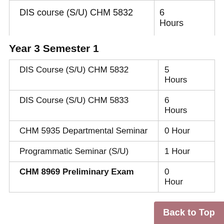| Course | Hours |
| --- | --- |
| DIS course (S/U) CHM 5832 | 6 Hours |
Year 3 Semester 1
| Course | Hours |
| --- | --- |
| DIS Course (S/U) CHM 5832 | 5 Hours |
| DIS Course (S/U) CHM 5833 | 6 Hours |
| CHM 5935 Departmental Seminar | 0 Hour |
| Programmatic Seminar (S/U) | 1 Hour |
| CHM 8969 Preliminary Exam | 0 Hour |